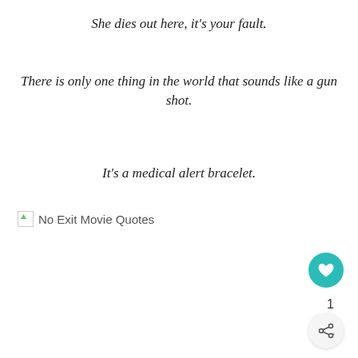She dies out here, it's your fault.
There is only one thing in the world that sounds like a gun shot.
It's a medical alert bracelet.
[Figure (other): Broken image placeholder with label 'No Exit Movie Quotes']
No Exit Movie Quotes